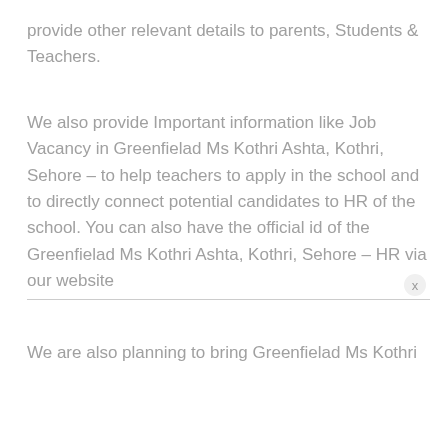provide other relevant details to parents, Students & Teachers.
We also provide Important information like Job Vacancy in Greenfielad Ms Kothri Ashta, Kothri, Sehore – to help teachers to apply in the school and to directly connect potential candidates to HR of the school. You can also have the official id of the Greenfielad Ms Kothri Ashta, Kothri, Sehore – HR via our website
We are also planning to bring Greenfielad Ms Kothri